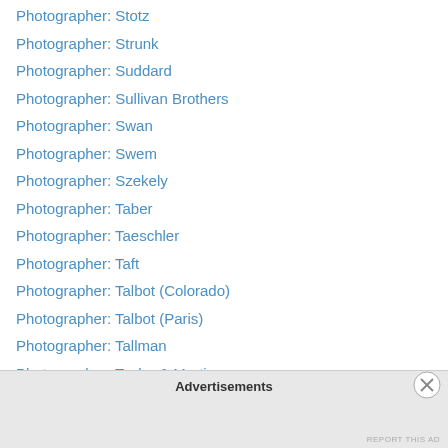Photographer: Stotz
Photographer: Strunk
Photographer: Suddard
Photographer: Sullivan Brothers
Photographer: Swan
Photographer: Swem
Photographer: Szekely
Photographer: Taber
Photographer: Taeschler
Photographer: Taft
Photographer: Talbot (Colorado)
Photographer: Talbot (Paris)
Photographer: Tallman
Photographer: Taylor & Martin
Photographer: Taylor JW
Photographer: Terry
Photographer: Thiele
Advertisements